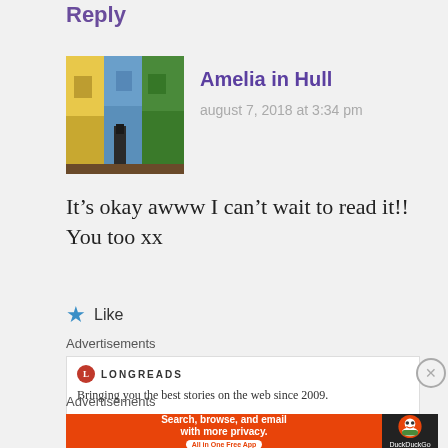Reply
Amelia in Hull
august 7, 2018 at 3:34 pm
[Figure (photo): Street photo showing colorful building facades]
It’s okay awww I can’t wait to read it!! You too xx
★ Like
Advertisements
[Figure (other): Longreads advertisement: Bringing you the best stories on the web since 2009.]
REPORT THIS AD
Advertisements
[Figure (other): DuckDuckGo advertisement: Search, browse, and email with more privacy. All in One Free App.]